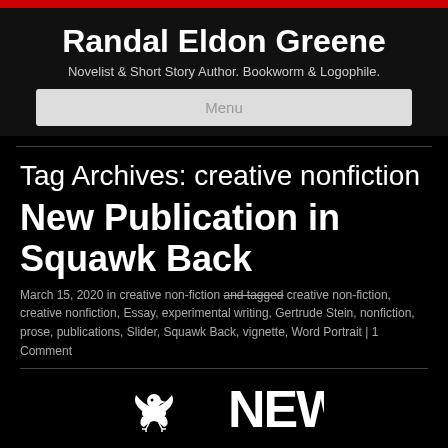Randal Eldon Greene
Novelist & Short Story Author. Bookworm & Logophile.
Menu
Tag Archives: creative nonfiction
New Publication in Squawk Back
March 15, 2020 in creative non-fiction and tagged creative non-fiction, creative nonfiction, Essay, experimental writing, Gertrude Stein, nonfiction, prose, publications, Slider, Squawk Back, vignette, Word Portrait | 1 Comment
[Figure (illustration): Small bird/dove icon illustration in white on black background]
[Figure (logo): NEW text logo in bold white letters on black background]